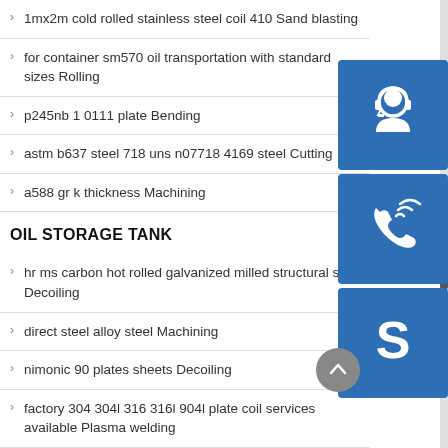1mx2m cold rolled stainless steel coil 410 Sand blasting
for container sm570 oil transportation with standard sizes Rolling
p245nb 1 0111 plate Bending
astm b637 steel 718 uns n07718 4169 steel Cutting
a588 gr k thickness Machining
OIL STORAGE TANK
[Figure (illustration): Customer service headset icon on blue square background]
[Figure (illustration): Phone with signal waves icon on blue square background]
[Figure (illustration): Skype logo icon on blue square background]
hr ms carbon hot rolled galvanized milled structural steel Decoiling
direct steel alloy steel Machining
nimonic 90 plates sheets Decoiling
factory 304 304l 316 316l 904l plate coil services available Plasma welding